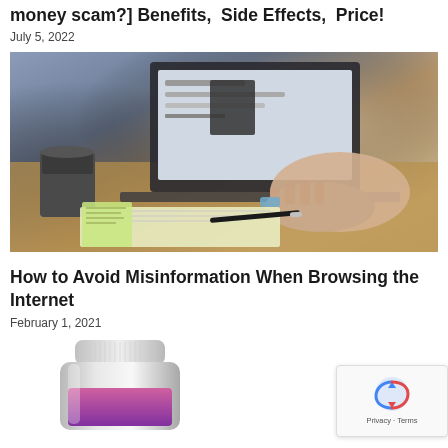money scam?] Benefits, Side Effects, Price!
July 5, 2022
[Figure (photo): Person typing on a laptop at a desk with papers, pens, and a coffee mug]
How to Avoid Misinformation When Browsing the Internet
February 1, 2021
[Figure (photo): A white supplement/vitamin bottle with pink/purple label, partially visible]
[Figure (other): reCAPTCHA widget with Privacy and Terms text]